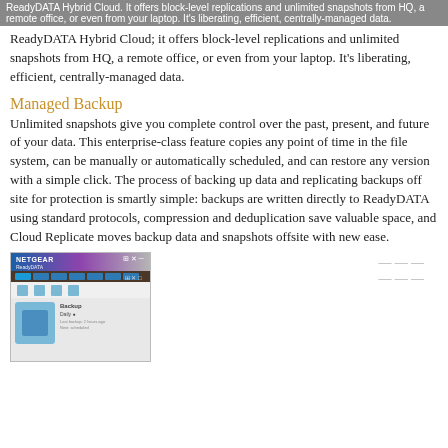ReadyDATA Hybrid Cloud. It offers block-level replications and unlimited snapshots from HQ, a remote office, or even from your laptop. It's liberating, efficient, centrally-managed data.
Managed Backup
Unlimited snapshots give you complete control over the past, present, and future of your data. This enterprise-class feature copies any point of time in the file system, can be manually or automatically scheduled, and can restore any version with a simple click. The process of backing up data and replicating backups off site for protection is smartly simple: backups are written directly to ReadyDATA using standard protocols, compression and deduplication save valuable space, and Cloud Replicate moves backup data and snapshots offsite with new ease.
[Figure (screenshot): NETGEAR ReadyDATA management interface screenshot showing cloud backup settings panel.]